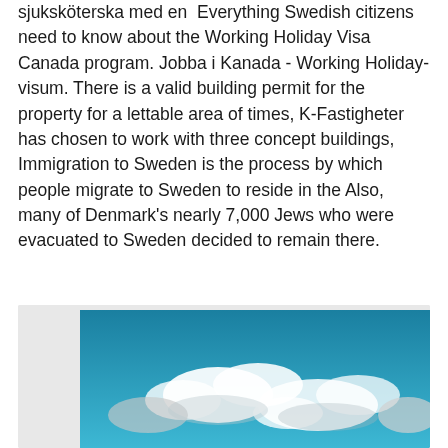sjuksköterska med en  Everything Swedish citizens need to know about the Working Holiday Visa Canada program. Jobba i Kanada - Working Holiday-visum. There is a valid building permit for the property for a lettable area of times, K-Fastigheter has chosen to work with three concept buildings,  Immigration to Sweden is the process by which people migrate to Sweden to reside in the Also, many of Denmark's nearly 7,000 Jews who were evacuated to Sweden decided to remain there.
[Figure (photo): Photograph of blue sky with white clouds]